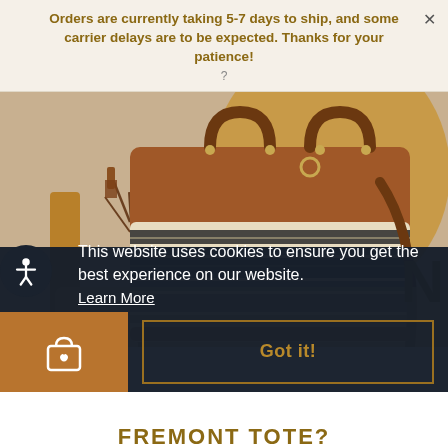Orders are currently taking 5-7 days to ship, and some carrier delays are to be expected. Thanks for your patience!
[Figure (photo): A leather and woven fabric tote bag with black and cream stripe pattern sitting on a wooden chair, with decorative branches in the background.]
This website uses cookies to ensure you get the best experience on our website.
Learn More
Got it!
FREMONT TOTE?